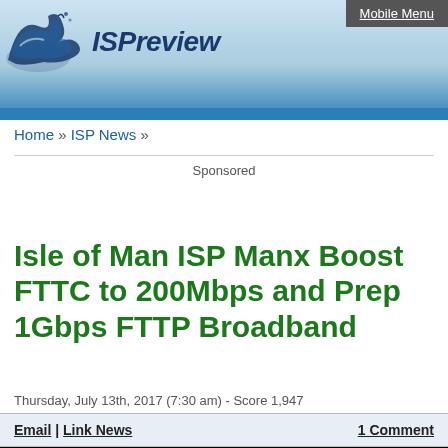ISPreview
Mobile Menu
Home » ISP News »
Sponsored
Isle of Man ISP Manx Boost FTTC to 200Mbps and Prep 1Gbps FTTP Broadband
Thursday, July 13th, 2017 (7:30 am) - Score 1,947
Email | Link News  1 Comment